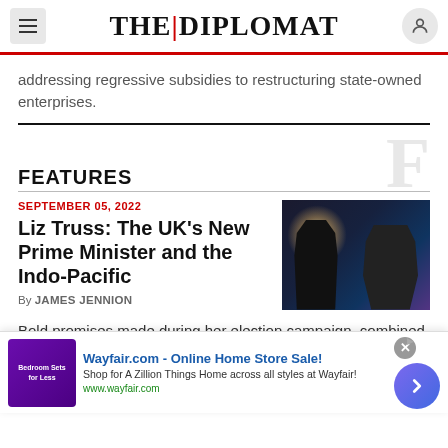THE DIPLOMAT
addressing regressive subsidies to restructuring state-owned enterprises.
FEATURES
SEPTEMBER 05, 2022
Liz Truss: The UK's New Prime Minister and the Indo-Pacific
By JAMES JENNION
[Figure (photo): Photo of Liz Truss waving, with another figure in foreground, dark background with bright light]
Bold promises made during her election campaign, combined with serious domestic challenges, may